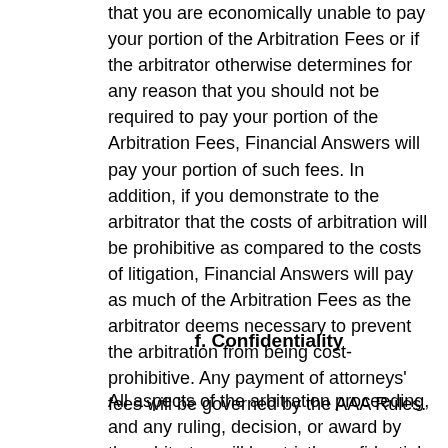that you are economically unable to pay your portion of the Arbitration Fees or if the arbitrator otherwise determines for any reason that you should not be required to pay your portion of the Arbitration Fees, Financial Answers will pay your portion of such fees. In addition, if you demonstrate to the arbitrator that the costs of arbitration will be prohibitive as compared to the costs of litigation, Financial Answers will pay as much of the Arbitration Fees as the arbitrator deems necessary to prevent the arbitration from being cost-prohibitive. Any payment of attorneys' fees will be governed by the AAA Rules.
f. Confidentiality
All aspects of the arbitration proceeding, and any ruling, decision, or award by the arbitrator, will be strictly confidential for the benefit of all